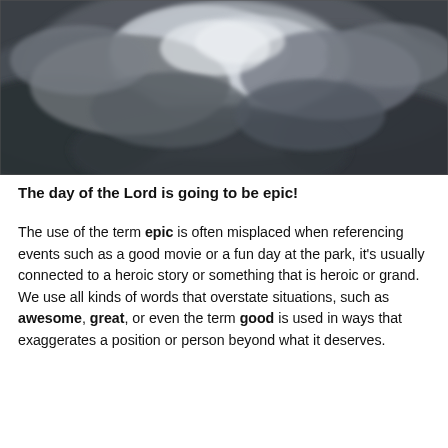[Figure (photo): Black and white photograph of dramatic storm clouds filling the sky, with various shades of grey and white, moody and turbulent cloud formations.]
The day of the Lord is going to be epic!
The use of the term epic is often misplaced when referencing events such as a good movie or a fun day at the park, it's usually connected to a heroic story or something that is heroic or grand. We use all kinds of words that overstate situations, such as awesome, great, or even the term good is used in ways that exaggerates a position or person beyond what it deserves.